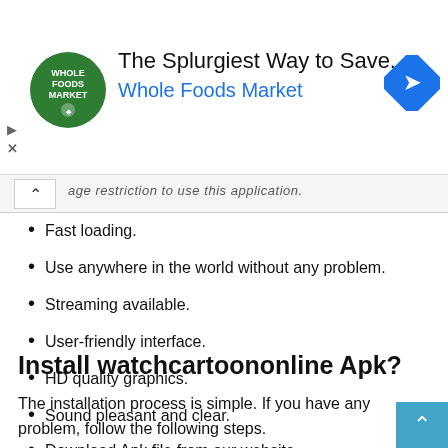[Figure (other): Whole Foods Market advertisement banner with logo, headline 'The Splurgiest Way to Save.' and brand name 'Whole Foods Market', with a blue navigation icon on the right]
age restriction to use this application.
Fast loading.
Use anywhere in the world without any problem.
Streaming available.
User-friendly interface.
HD quality graphics.
Sound pleasant and clear.
Install watchcartoononline Apk?
The installation process is simple. If you have any problem, follow the following steps.
Download Apk file from our website.